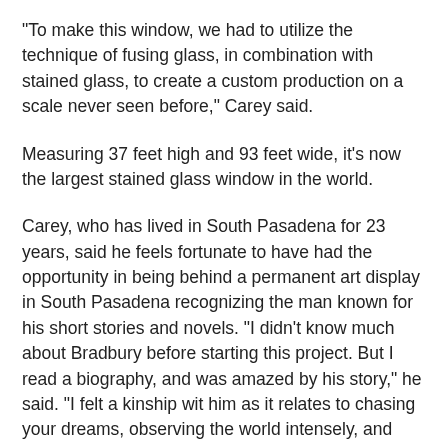“To make this window, we had to utilize the technique of fusing glass, in combination with stained glass, to create a custom production on a scale never seen before,” Carey said.
Measuring 37 feet high and 93 feet wide, it’s now the largest stained glass window in the world.
Carey, who has lived in South Pasadena for 23 years, said he feels fortunate to have had the opportunity in being behind a permanent art display in South Pasadena recognizing the man known for his short stories and novels. “I didn’t know much about Bradbury before starting this project. But I read a biography, and was amazed by his story,” he said. “I felt a kinship wit him as it relates to chasing your dreams, observing the world intensely, and translating your experiences creatively in your work. He sought after universal truths and was never afraid to deviate from conventional off the different